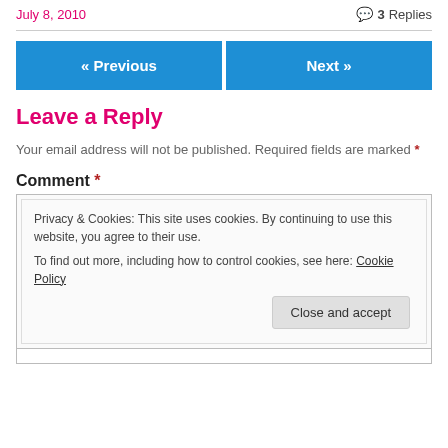July 8, 2010
3 Replies
« Previous
Next »
Leave a Reply
Your email address will not be published. Required fields are marked *
Comment *
Privacy & Cookies: This site uses cookies. By continuing to use this website, you agree to their use. To find out more, including how to control cookies, see here: Cookie Policy
Close and accept